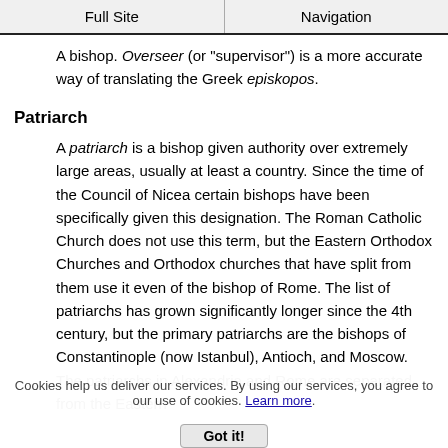Full Site | Navigation
A bishop. Overseer (or "supervisor") is a more accurate way of translating the Greek episkopos.
Patriarch
A patriarch is a bishop given authority over extremely large areas, usually at least a country. Since the time of the Council of Nicea certain bishops have been specifically given this designation. The Roman Catholic Church does not use this term, but the Eastern Orthodox Churches and Orthodox churches that have split from them use it even of the bishop of Rome. The list of patriarchs has grown significantly longer since the 4th century, but the primary patriarchs are the bishops of Constantinople (now Istanbul), Antioch, and Moscow. The patriarchs in Alexandria and Rome are separated from the Eastern
Cookies help us deliver our services. By using our services, you agree to our use of cookies. Learn more. Got it!